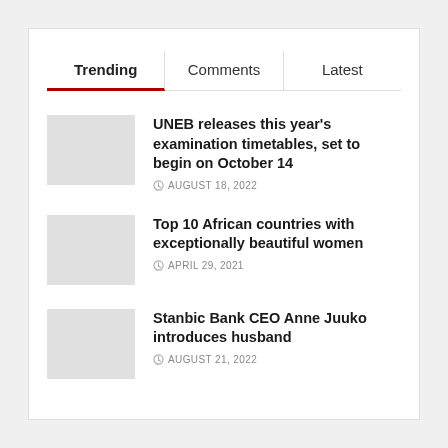Trending | Comments | Latest
UNEB releases this year's examination timetables, set to begin on October 14
AUGUST 18, 2022
Top 10 African countries with exceptionally beautiful women
APRIL 29, 2021
Stanbic Bank CEO Anne Juuko introduces husband
AUGUST 21, 2022